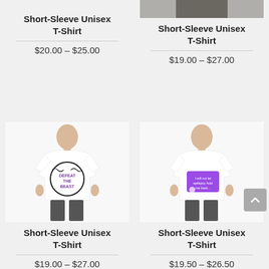Short-Sleeve Unisex T-Shirt
[Figure (photo): Partial top image of t-shirt product (top-right)]
Short-Sleeve Unisex T-Shirt
[Figure (photo): White unisex t-shirt with black graphic design (defeat the beast), worn by male model]
Short-Sleeve Unisex T-Shirt
[Figure (photo): White unisex t-shirt with purple graphic design, worn by male model]
Short-Sleeve Unisex T-Shirt